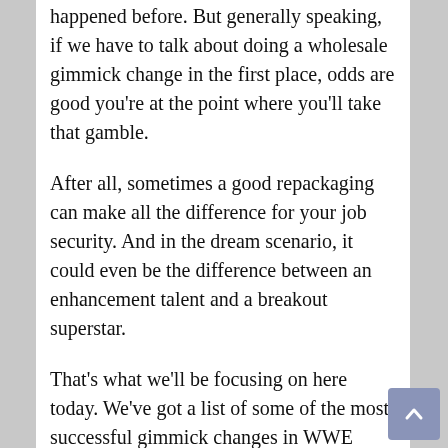happened before. But generally speaking, if we have to talk about doing a wholesale gimmick change in the first place, odds are good you're at the point where you'll take that gamble.
After all, sometimes a good repackaging can make all the difference for your job security. And in the dream scenario, it could even be the difference between an enhancement talent and a breakout superstar.
That's what we'll be focusing on here today. We've got a list of some of the most successful gimmick changes in WWE history. Some people here were saddled with a wretched gimmick from the start, while others simply got stale with time. But everyone on this list greatly